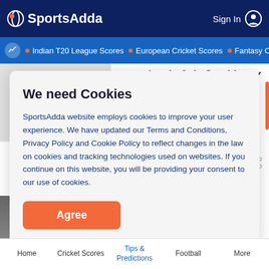SportsAdda | Sign In
Indian T20 League Scores • European Cricket Scores • Fantasy C
matches in Asia Cup history
Features  Like
We need Cookies
SportsAdda website employs cookies to improve your user experience. We have updated our Terms and Conditions, Privacy Policy and Cookie Policy to reflect changes in the law on cookies and tracking technologies used on websites. If you continue on this website, you will be providing your consent to our use of cookies.
Agree
Home  Cricket Scores  Tips & Predictions  Football  More